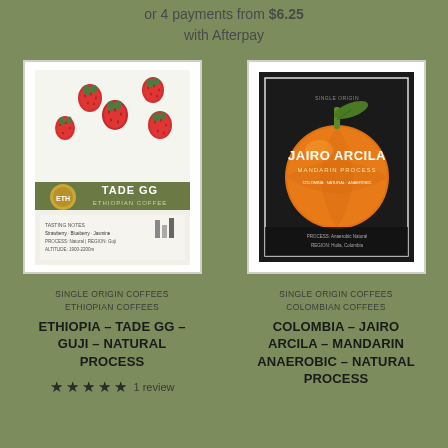or 4 payments from $6.25 with Afterpay
[Figure (photo): Coffee bag for Ethiopia – Tade GG – Guji – Natural Process, white bag with strawberries and product label]
[Figure (photo): Coffee bag for Colombia – Jairo Arcila – Mandarin Anaerobic – Natural Process, dark bag with mandarin orange image and JAIRO ARCILA text]
SINGLE ORIGIN COFFEES ETHIOPIAN COFFEES
ETHIOPIA – TADE GG – GUJI – NATURAL PROCESS
★★★★★ 1 review
SINGLE ORIGIN COFFEES COLOMBIAN COFFEES
COLOMBIA – JAIRO ARCILA – MANDARIN ANAEROBIC – NATURAL PROCESS